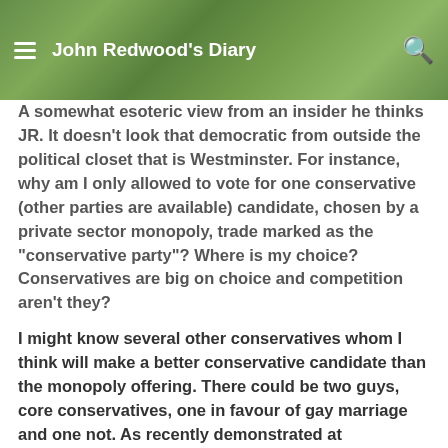[Figure (photo): Green leafy plant background with a navigation header overlay showing a hamburger menu icon, the title 'John Redwood's Diary' in white bold text, and a search icon on the right.]
A somewhat esoteric view from an insider he thinks JR. It doesn't look that democratic from outside the political closet that is Westminster. For instance, why am I only allowed to vote for one conservative (other parties are available) candidate, chosen by a private sector monopoly, trade marked as the "conservative party"? Where is my choice? Conservatives are big on choice and competition aren't they?

I might know several other conservatives whom I think will make a better conservative candidate than the monopoly offering. There could be two guys, core conservatives, one in favour of gay marriage and one not. As recently demonstrated at Westminster. To me that demonstrates that I may be in the wrong conservative party; not that I am. The Boston (Lincs) Tea Party division of the Conservative Party, promised us 200
John Redwood's Diary